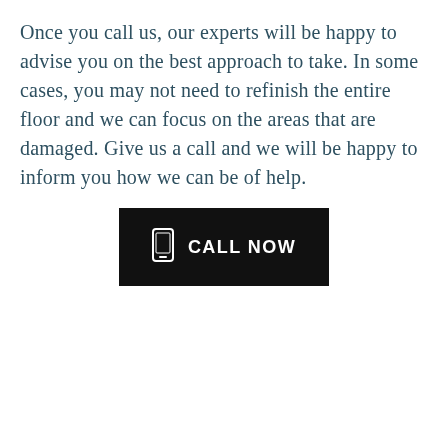Once you call us, our experts will be happy to advise you on the best approach to take. In some cases, you may not need to refinish the entire floor and we can focus on the areas that are damaged. Give us a call and we will be happy to inform you how we can be of help.
[Figure (other): A black rectangular button with a white mobile phone icon and the text 'CALL NOW' in white capital letters]